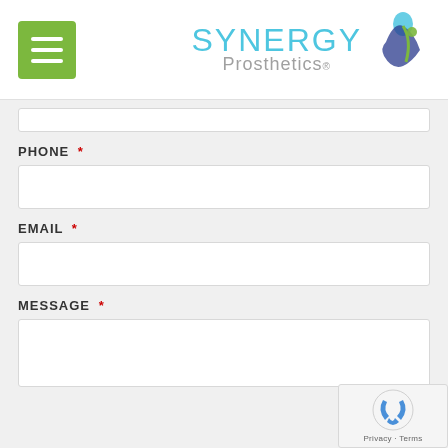[Figure (logo): Synergy Prosthetics logo with green menu hamburger button on the left and SYNERGY Prosthetics wordmark with icon on the right]
PHONE *
EMAIL *
MESSAGE *